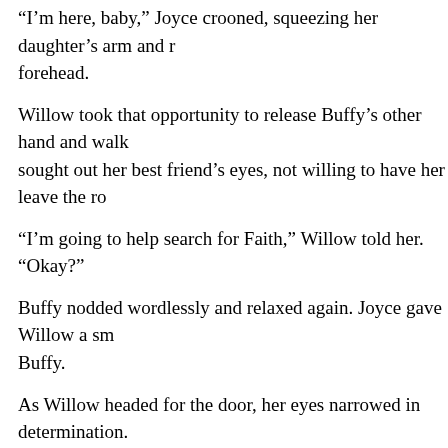“I’m here, baby,” Joyce crooned, squeezing her daughter’s arm and r forehead.
Willow took that opportunity to release Buffy’s other hand and walk sought out her best friend’s eyes, not willing to have her leave the ro
“I’m going to help search for Faith,” Willow told her. “Okay?”
Buffy nodded wordlessly and relaxed again. Joyce gave Willow a sm Buffy.
As Willow headed for the door, her eyes narrowed in determination. thought to herself.
***
After Buffy had gotten her latest cry out, she wiped her eyes and ble the bed so that she was sitting up against her pillows more.
Joyce frowned when she saw Buffy grimacing in pain from the small Joyce rested her hand lightly on her daughter’s stomach. “I hate this,
“You should try it on my end,” Buffy quipped.
She dropped the teasing tone when she realized that her mother didn was, she herself didn’t feel much like joking either. But that was the